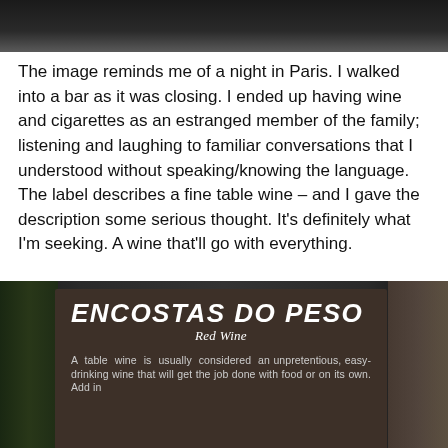[Figure (photo): Top portion of a dark photo, showing a dim scene, partially cropped at top]
The image reminds me of a night in Paris. I walked into a bar as it was closing. I ended up having wine and cigarettes as an estranged member of the family; listening and laughing to familiar conversations that I understood without speaking/knowing the language. The label describes a fine table wine – and I gave the description some serious thought. It's definitely what I'm seeking. A wine that'll go with everything.
[Figure (photo): Photo of a wine bottle label reading ENCOSTAS DO PESO Red Wine, with text beginning 'A table wine is usually considered an unpretentious, easy-drinking wine that will get the job done with food or on its own. Add in']